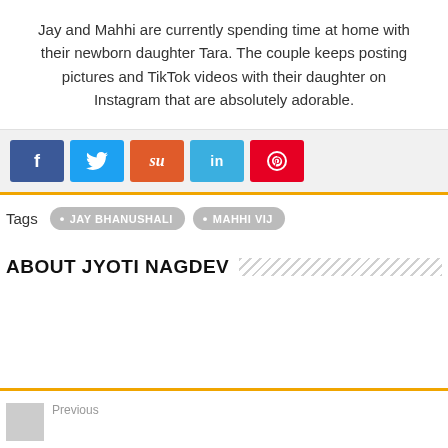Jay and Mahhi are currently spending time at home with their newborn daughter Tara. The couple keeps posting pictures and TikTok videos with their daughter on Instagram that are absolutely adorable.
[Figure (infographic): Social share buttons: Facebook (blue), Twitter (light blue), StumbleUpon (orange), LinkedIn (light blue), Pinterest (red)]
Tags  JAY BHANUSHALI  MAHHI VIJ
ABOUT JYOTI NAGDEV
Previous